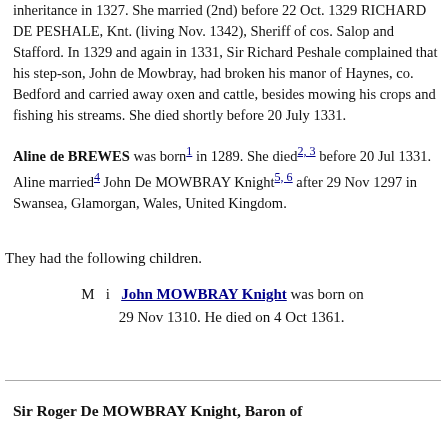inheritance in 1327. She married (2nd) before 22 Oct. 1329 RICHARD DE PESHALE, Knt. (living Nov. 1342), Sheriff of cos. Salop and Stafford. In 1329 and again in 1331, Sir Richard Peshale complained that his step-son, John de Mowbray, had broken his manor of Haynes, co. Bedford and carried away oxen and cattle, besides mowing his crops and fishing his streams. She died shortly before 20 July 1331.
Aline de BREWES was born[1] in 1289. She died[2,3] before 20 Jul 1331. Aline married[4] John De MOWBRAY Knight[5,6] after 29 Nov 1297 in Swansea, Glamorgan, Wales, United Kingdom.
They had the following children.
M  i  John MOWBRAY Knight was born on 29 Nov 1310. He died on 4 Oct 1361.
Sir Roger De MOWBRAY Knight, Baron of